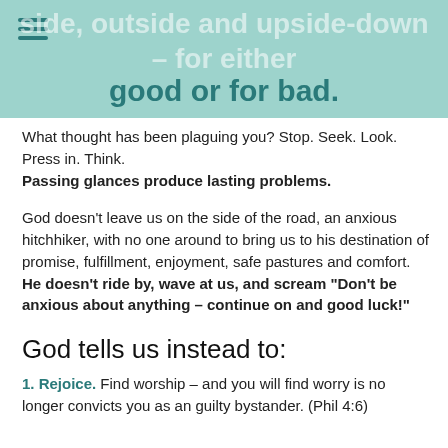side, outside and upside-down – for either good or for bad.
What thought has been plaguing you? Stop. Seek. Look. Press in. Think.
Passing glances produce lasting problems.
God doesn't leave us on the side of the road, an anxious hitchhiker, with no one around to bring us to his destination of promise, fulfillment, enjoyment, safe pastures and comfort. He doesn't ride by, wave at us, and scream "Don't be anxious about anything – continue on and good luck!"
God tells us instead to:
1. Rejoice. Find worship – and you will find worry is no longer convicts you as an guilty bystander. (Phil 4:6)